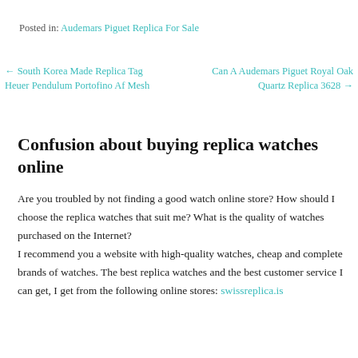Posted in: Audemars Piguet Replica For Sale
← South Korea Made Replica Tag Heuer Pendulum Portofino Af Mesh
Can A Audemars Piguet Royal Oak Quartz Replica 3628 →
Confusion about buying replica watches online
Are you troubled by not finding a good watch online store? How should I choose the replica watches that suit me? What is the quality of watches purchased on the Internet?
I recommend you a website with high-quality watches, cheap and complete brands of watches. The best replica watches and the best customer service I can get, I get from the following online stores: swissreplica.is